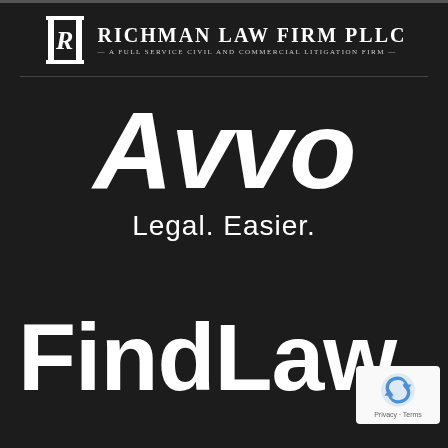[Figure (logo): Richman Law Firm PLLC logo with column icon and firm name. Tagline: A Full Service Civil and Commercial Litigation Firm]
[Figure (logo): Avvo logo in large italic bold white text with tagline 'Legal. Easier.']
[Figure (logo): FindLaw logo in large bold white text, partially cut off at right edge]
[Figure (logo): Google reCAPTCHA badge in bottom right corner with 'Privacy - Terms' text]